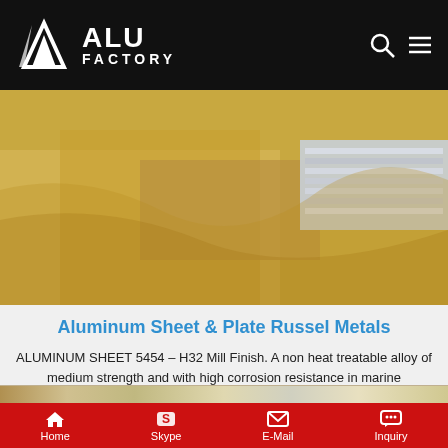[Figure (logo): Alu Factory logo on black header bar with search and menu icons]
[Figure (photo): Aluminum sheets and plates wrapped in protective plastic and brown paper packaging]
Aluminum Sheet & Plate Russel Metals
ALUMINUM SHEET 5454 – H32 Mill Finish. A non heat treatable alloy of medium strength and with high corrosion resistance in marine applications. As welded properties superior to 5052. Used for storage tanks, highway tankers and unfired pressure vessels. Thickness Inches.
[Figure (screenshot): Get Price button]
[Figure (photo): Partial view of aluminum sheets at bottom of page]
Home  Skype  E-Mail  Inquiry